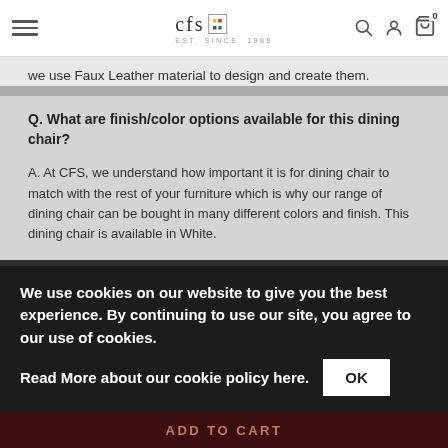CFS navigation bar with hamburger menu, CFS logo, search, account, and cart icons
we use Faux Leather material to design and create them.
Q. What are finish/color options available for this dining chair?
A. At CFS, we understand how important it is for dining chair to match with the rest of your furniture which is why our range of dining chair can be bought in many different colors and finish. This dining chair is available in White.
Q. What type of seat does the dining chair come with?
We use cookies on our website to give you the best experience. By continuing to use our site, you agree to our use of cookies.
Read More about our cookie policy here.
ADD TO CART